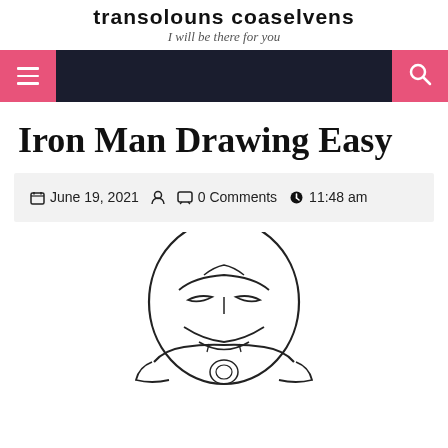I will be there for you
[Figure (screenshot): Navigation bar with hamburger menu button on left (pink) and search button on right (pink) on dark navy background]
Iron Man Drawing Easy
June 19, 2021  |  0 Comments  |  11:48 am
[Figure (illustration): Pencil sketch / line drawing of Iron Man helmet and upper body, partially visible at bottom of page]